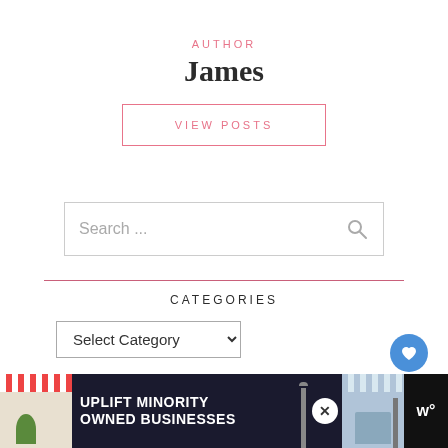AUTHOR
James
VIEW POSTS
Search ...
CATEGORIES
Select Category
[Figure (screenshot): Advertisement banner at bottom: UPLIFT MINORITY OWNED BUSINESSES with store illustration, close button, and Canva logo]
[Figure (other): Floating heart/like button (blue circle), back-to-top button (circle with up chevron), and share button (circle with share icon)]